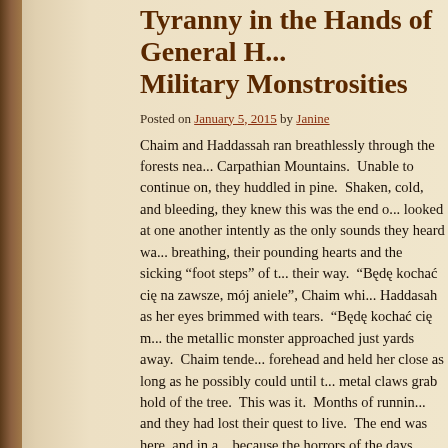Tyranny in the Hands of General H... Military Monstrosities
Posted on January 5, 2015 by Janine
Chaim and Haddassah ran breathlessly through the forests near the Carpathian Mountains. Unable to continue on, they huddled in a pine. Shaken, cold, and bleeding, they knew this was the end of... looked at one another intently as the only sounds they heard was breathing, their pounding hearts and the sicking “foot steps” of t... their way. “Będę kochać cię na zawsze, mój aniele”, Chaim whi... Haddasah as her eyes brimmed with tears. “Będę kochać cię m... the metallic monster approached just yards away. Chaim tende... forehead and held her close as long as he possibly could until t... metal claws grab hold of the tree. This was it. Months of runnin... and they had lost their quest to live. The end was here, and in a... because the horrors of the days which had preceded it were no... horror. No more pain. No more death. No more fear. In a mom... arms of Yeshuah Hameshiach and all would be changed. And t... Chaim felt the steely grip of the monster’s strong claws grasp hi... away, he looked into Haddassah’s eyes one last time and heard...